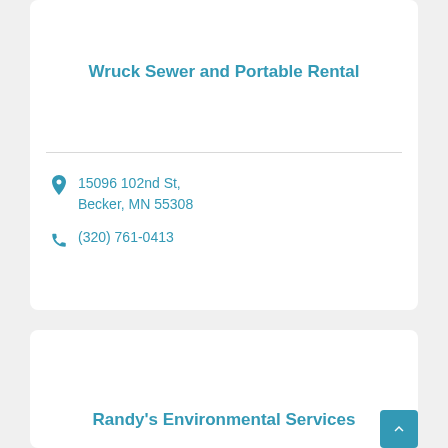Wruck Sewer and Portable Rental
15096 102nd St, Becker, MN 55308
(320) 761-0413
Randy's Environmental Services